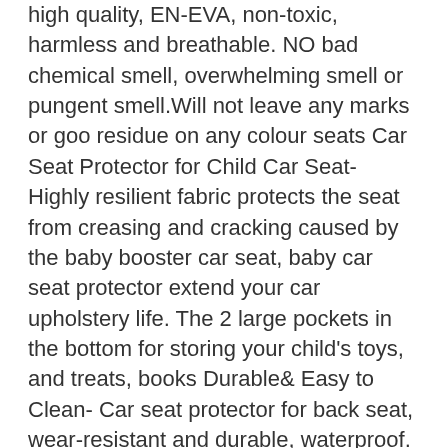high quality, EN-EVA, non-toxic, harmless and breathable. NO bad chemical smell, overwhelming smell or pungent smell.Will not leave any marks or goo residue on any colour seats Car Seat Protector for Child Car Seat- Highly resilient fabric protects the seat from creasing and cracking caused by the baby booster car seat, baby car seat protector extend your car upholstery life. The 2 large pockets in the bottom for storing your child's toys, and treats, books Durable& Easy to Clean- Car seat protector for back seat, wear-resistant and durable, waterproof. Footprints and stains can be wiped off with a damp cloth easily. Made of thickened 600D fabric, PVC Leather Reinforced Corners, can be used as a seat cover for dog cat seat Non Slip& No Marks- We selected the densest WHITE non-slip points to apply to the entire backrest and seat mat of car seat covers, which is more non-slip than ordinary seat protector. It's heat resistant, Won't melt and Won't leave any marks on the light leather seats. To ensure it complies, seat should...